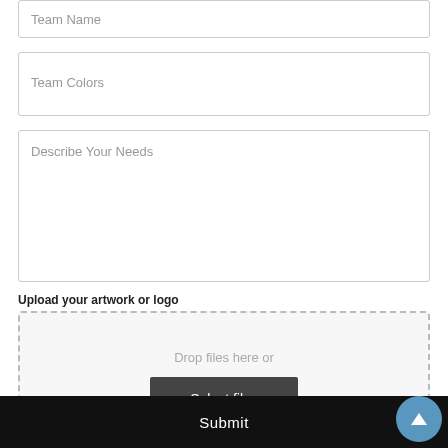Team Name
Team Colors
Describe Your Needs
Upload your artwork or logo
[Figure (screenshot): File upload drop zone with 'Drop files here or' text and a dark 'Select files' button]
Quantity
Need By Date
Submit